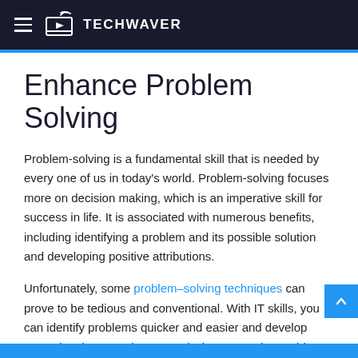TECHWAVER
Enhance Problem Solving
Problem-solving is a fundamental skill that is needed by every one of us in today's world. Problem-solving focuses more on decision making, which is an imperative skill for success in life. It is associated with numerous benefits, including identifying a problem and its possible solution and developing positive attributions.
Unfortunately, some problem–solving techniques can prove to be tedious and conventional. With IT skills, you can identify problems quicker and easier and develop exceptional approaches to analyzing a complex problem.